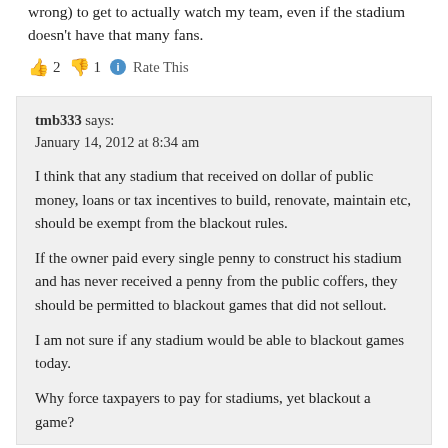wrong) to get to actually watch my team, even if the stadium doesn't have that many fans.
👍 2 👎 1 ℹ Rate This
tmb333 says:
January 14, 2012 at 8:34 am
I think that any stadium that received on dollar of public money, loans or tax incentives to build, renovate, maintain etc, should be exempt from the blackout rules.
If the owner paid every single penny to construct his stadium and has never received a penny from the public coffers, they should be permitted to blackout games that did not sellout.
I am not sure if any stadium would be able to blackout games today.
Why force taxpayers to pay for stadiums, yet blackout a game?